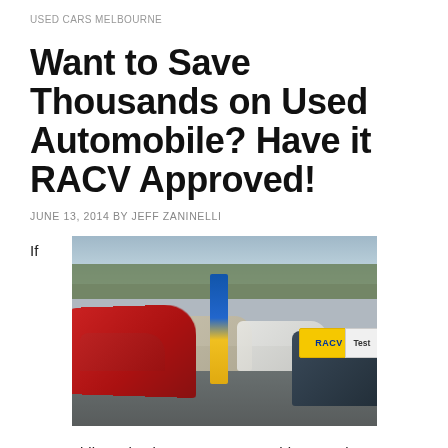USED CARS MELBOURNE
Want to Save Thousands on Used Automobile? Have it RACV Approved!
JUNE 13, 2014 BY JEFF ZANINELLI
If
[Figure (photo): A used car lot showing multiple cars including a prominent red car in the foreground, a blue and yellow RACV branded banner/flag in the center, various other cars in the background, and an RACV Test sign visible on a car at the right. The lot appears wet, suggesting recent rain.]
automobile enthusiasts agree on anything, used cars